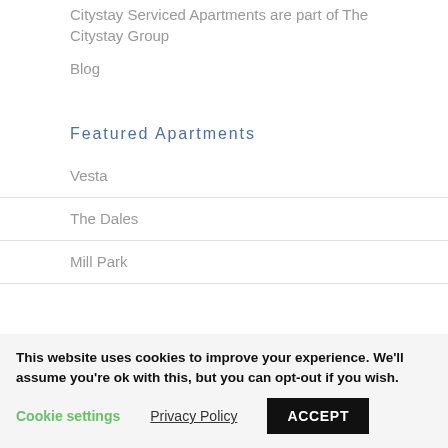Citystay Serviced Apartments are part of The Citystay Group
Blog
Featured Apartments
Vesta
The Dales
Mill Park
This website uses cookies to improve your experience. We'll assume you're ok with this, but you can opt-out if you wish.
Cookie settings
Privacy Policy
ACCEPT